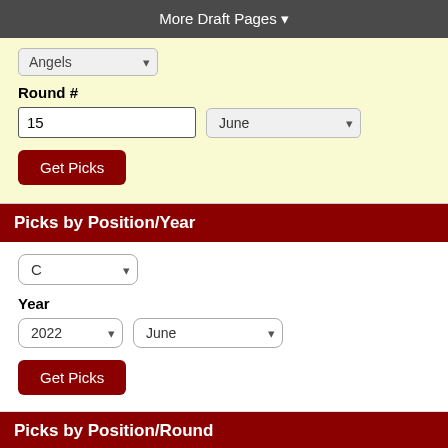More Draft Pages ▾
Angels (dropdown)
Round #
15
June (dropdown)
Get Picks
Picks by Position/Year
C (dropdown)
Year
2022 (dropdown)
June (dropdown)
Get Picks
Picks by Position/Round